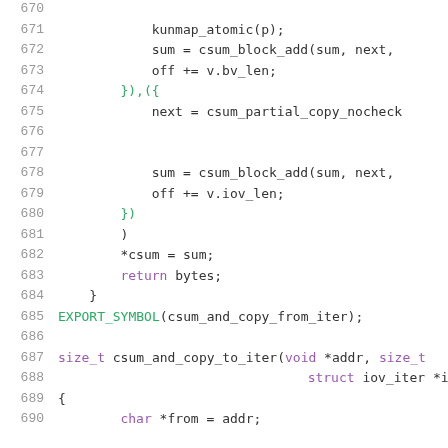Source code lines 670-690 showing C kernel code with csum functions